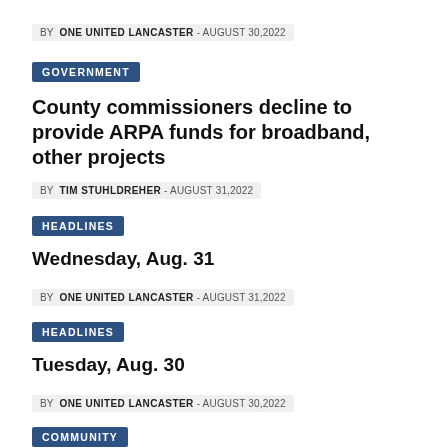BY ONE UNITED LANCASTER - AUGUST 30,2022
GOVERNMENT
County commissioners decline to provide ARPA funds for broadband, other projects
BY TIM STUHLDREHER - AUGUST 31,2022
HEADLINES
Wednesday, Aug. 31
BY ONE UNITED LANCASTER - AUGUST 31,2022
HEADLINES
Tuesday, Aug. 30
BY ONE UNITED LANCASTER - AUGUST 30,2022
COMMUNITY